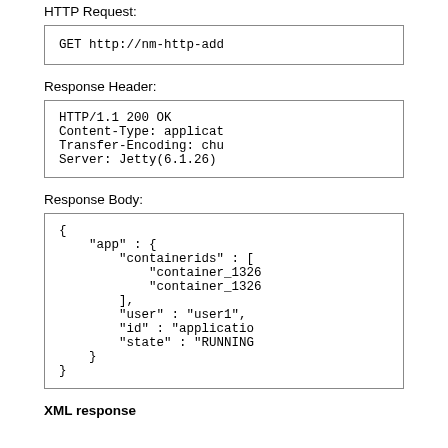HTTP Request:
GET http://nm-http-add
Response Header:
HTTP/1.1 200 OK
Content-Type: applicat
Transfer-Encoding: chu
Server: Jetty(6.1.26)
Response Body:
{
    "app" : {
        "containerids" : [
            "container_1326
            "container_1326
        ],
        "user" : "user1",
        "id" : "applicatio
        "state" : "RUNNING
    }
}
XML response